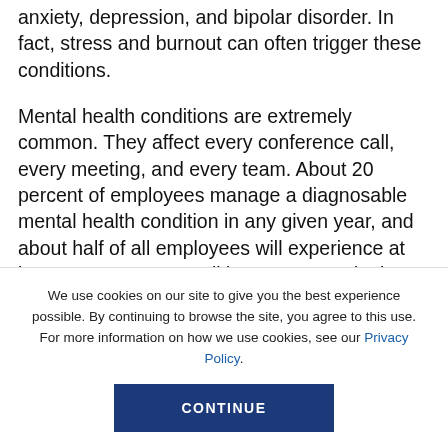anxiety, depression, and bipolar disorder. In fact, stress and burnout can often trigger these conditions.
Mental health conditions are extremely common. They affect every conference call, every meeting, and every team. About 20 percent of employees manage a diagnosable mental health condition in any given year, and about half of all employees will experience at least a temporary condition at some point in their lives. Despite being more widespread than heart disease,
We use cookies on our site to give you the best experience possible. By continuing to browse the site, you agree to this use. For more information on how we use cookies, see our Privacy Policy.
CONTINUE